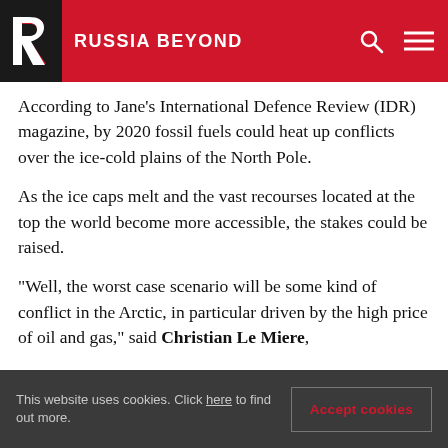RUSSIA BEYOND
According to Jane's International Defence Review (IDR) magazine, by 2020 fossil fuels could heat up conflicts over the ice-cold plains of the North Pole.
As the ice caps melt and the vast recourses located at the top the world become more accessible, the stakes could be raised.
"Well, the worst case scenario will be some kind of conflict in the Arctic, in particular driven by the high price of oil and gas," said Christian Le Miere,
This website uses cookies. Click here to find out more.
Accept cookies